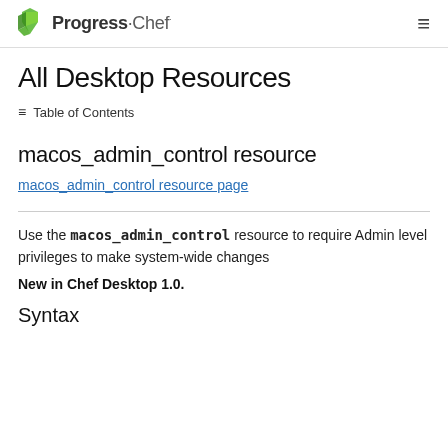Progress Chef
All Desktop Resources
≡ Table of Contents
macos_admin_control resource
macos_admin_control resource page
Use the macos_admin_control resource to require Admin level privileges to make system-wide changes
New in Chef Desktop 1.0.
Syntax